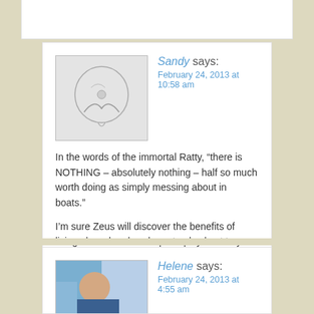Sandy says:
February 24, 2013 at 10:58 am
In the words of the immortal Ratty, “there is NOTHING – absolutely nothing – half so much worth doing as simply messing about in boats."

I'm sure Zeus will discover the benefits of living aboard and we hope to play host to you in our part of the world one day. 😉
Helene says:
February 24, 2013 at 4:55 am